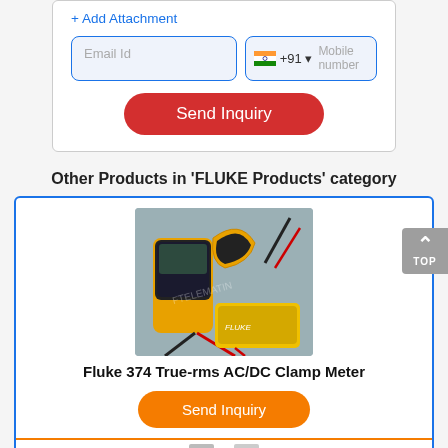+ Add Attachment
[Figure (screenshot): Email Id input field and mobile number input field with India flag and +91 country code]
[Figure (screenshot): Red 'Send Inquiry' button]
Other Products in 'FLUKE Products' category
[Figure (photo): Fluke 374 True-rms AC/DC Clamp Meter product image showing clamp meter device with probes on gray background]
Fluke 374 True-rms AC/DC Clamp Meter
[Figure (screenshot): Orange 'Send Inquiry' button]